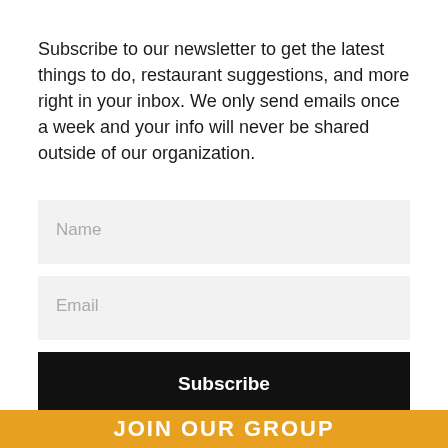Subscribe to our newsletter to get the latest things to do, restaurant suggestions, and more right in your inbox. We only send emails once a week and your info will never be shared outside of our organization.
Name
Email
Subscribe
JOIN OUR GROUP